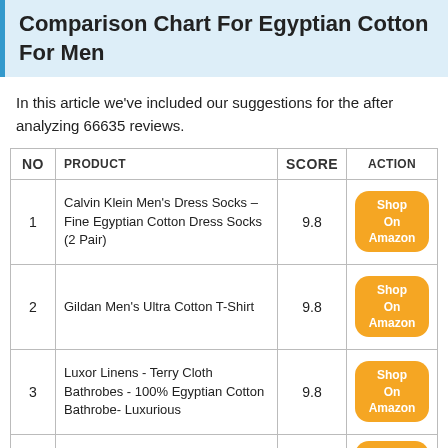Comparison Chart For Egyptian Cotton For Men
In this article we've included our suggestions for the after analyzing 66635 reviews.
| NO | PRODUCT | SCORE | ACTION |
| --- | --- | --- | --- |
| 1 | Calvin Klein Men's Dress Socks – Fine Egyptian Cotton Dress Socks (2 Pair) | 9.8 | Shop On Amazon |
| 2 | Gildan Men's Ultra Cotton T-Shirt | 9.8 | Shop On Amazon |
| 3 | Luxor Linens - Terry Cloth Bathrobes - 100% Egyptian Cotton Bathrobe- Luxurious | 9.8 | Shop On Amazon |
| 4 | Gildan mens Heavy Cotton T-shirt | 9.8 | Shop On Amazon |